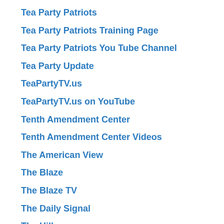Tea Party Patriots
Tea Party Patriots Training Page
Tea Party Patriots You Tube Channel
Tea Party Update
TeaPartyTV.us
TeaPartyTV.us on YouTube
Tenth Amendment Center
Tenth Amendment Center Videos
The American View
The Blaze
The Blaze TV
The Daily Signal
The Hill
The Independent Institute
The John William Pope Center for Higher